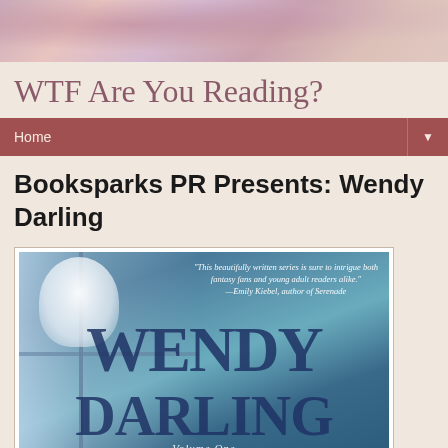[Figure (illustration): Decorative watercolor-style header image with pink, purple, and coral floral/abstract shapes on a light background]
WTF Are You Reading?
Home ▼
Booksparks PR Presents: Wendy Darling
[Figure (photo): Book cover of 'Wendy Darling Volume One: Stars' showing large stylized text WENDY DARLING on a teal/blue background with a white silhouette figure and a door frame. Quote: 'This beautifully written series is sure to intrigue both fantasy fans and young adult readers alike.' —Emily Kiebel, author of Serenade. Bottom text: Volume One STARS]